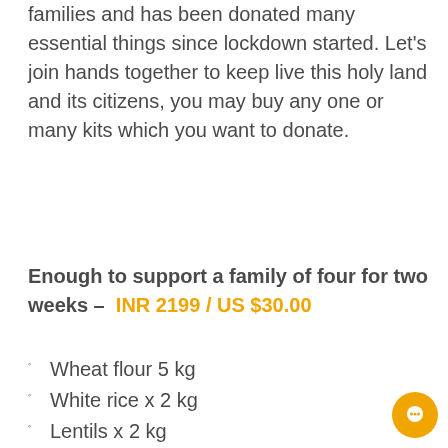families and has been donated many essential things since lockdown started. Let's join hands together to keep live this holy land and its citizens, you may buy any one or many kits which you want to donate.
Enough to support a family of four for two weeks – INR 2199 / US $30.00
Wheat flour 5 kg
White rice x 2 kg
Lentils x 2 kg
Cooking Oil x 2 litres
Kitchen Spices, Salt , Garlic , Turmeric , Ginger, Red Chilli